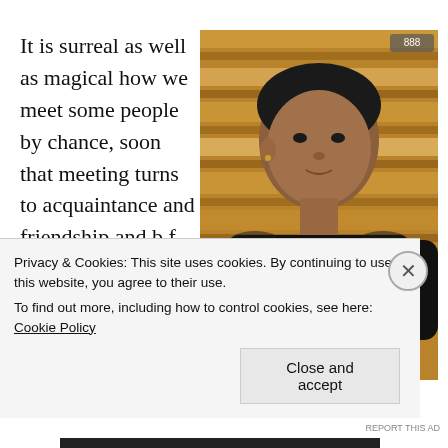It is surreal as well as magical how we meet some people by chance, soon that meeting turns to acquaintance and friendship and b f...
[Figure (photo): Photo of a young man wearing a black t-shirt with 'SOCCER' text, sitting against a wooden slat background with warm lighting.]
Privacy & Cookies: This site uses cookies. By continuing to use this website, you agree to their use.
To find out more, including how to control cookies, see here: Cookie Policy
Close and accept